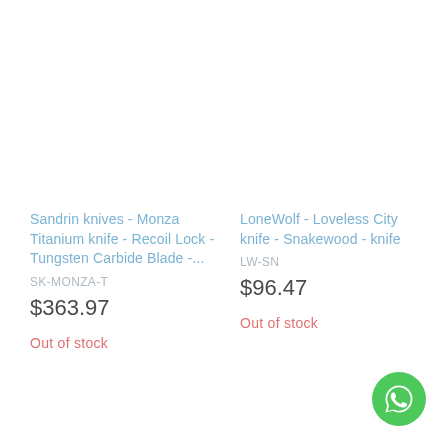Sandrin knives - Monza Titanium knife - Recoil Lock - Tungsten Carbide Blade -...
SK-MONZA-T
$363.97
Out of stock
LoneWolf - Loveless City knife - Snakewood - knife
LW-SN
$96.47
Out of stock
[Figure (logo): WhatsApp icon — green circle with white phone/chat bubble icon]